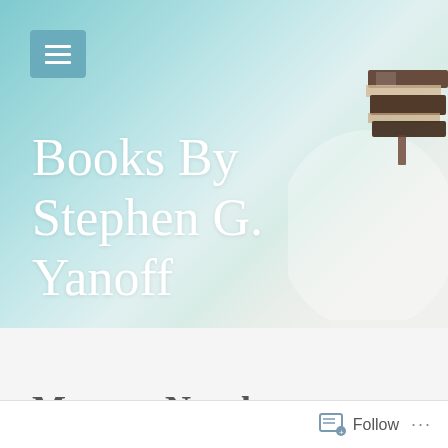[Figure (screenshot): Website header with teal/aqua blurred background and stacked books image in top-right corner]
Books By Stephen G. Yanoff
Mystery Novels
Follow ...